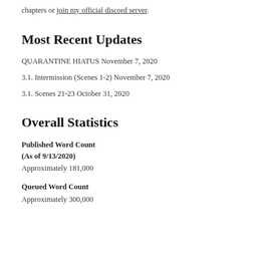chapters or join my official discord server.
Most Recent Updates
QUARANTINE HIATUS November 7, 2020
3.1. Intermission (Scenes 1-2) November 7, 2020
3.1. Scenes 21-23 October 31, 2020
Overall Statistics
Published Word Count
(As of 9/13/2020)
Approximately 181,000
Queued Word Count
Approximately 300,000